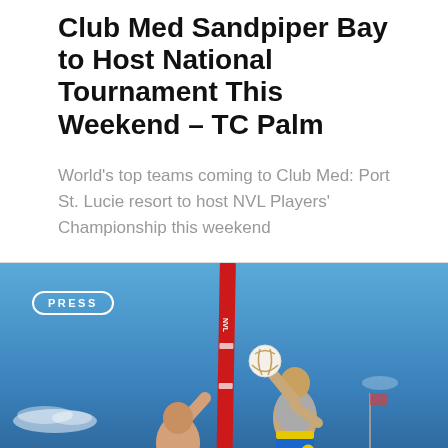Club Med Sandpiper Bay to Host National Tournament This Weekend – TC Palm
World's top teams coming to Club Med: Port St. Lucie resort to host NVL Players' Championship this weekend
[Figure (photo): Outdoor beach volleyball scene with two players at the net under a blue sky, with a PRESS badge overlay in the upper left corner. A red NVL net pole is visible. One player is shirtless reaching up, another is jumping in yellow/blue shorts reaching for the ball.]